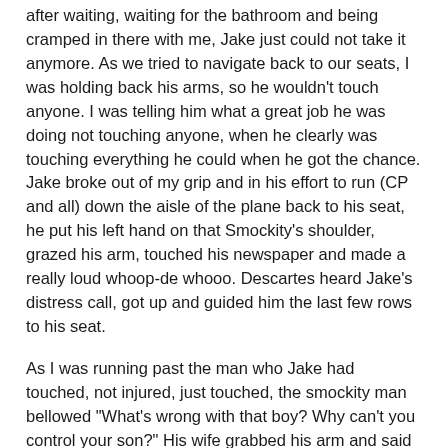after waiting, waiting for the bathroom and being cramped in there with me, Jake just could not take it anymore. As we tried to navigate back to our seats, I was holding back his arms, so he wouldn't touch anyone. I was telling him what a great job he was doing not touching anyone, when he clearly was touching everything he could when he got the chance. Jake broke out of my grip and in his effort to run (CP and all) down the aisle of the plane back to his seat, he put his left hand on that Smockity's shoulder, grazed his arm, touched his newspaper and made a really loud whoop-de whooo. Descartes heard Jake's distress call, got up and guided him the last few rows to his seat.
As I was running past the man who Jake had touched, not injured, just touched, the smockity man bellowed "What's wrong with that boy? Why can't you control your son?" His wife grabbed his arm and said something quickly, but he pulled his arm away from her and continued to glare at me, because of course I was so stunned that I was still standing there. He had decided there was something wrong with my child, and that I was a bad parent all in one fell swoop.  I apologized, of course, because I always apologize for my